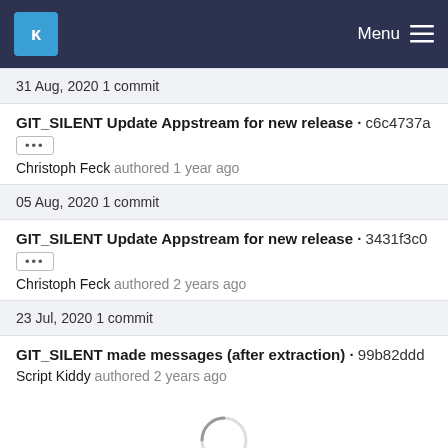KDE Menu
31 Aug, 2020 1 commit
GIT_SILENT Update Appstream for new release · c6c4737a
Christoph Feck authored 1 year ago
05 Aug, 2020 1 commit
GIT_SILENT Update Appstream for new release · 3431f3c0
Christoph Feck authored 2 years ago
23 Jul, 2020 1 commit
GIT_SILENT made messages (after extraction) · 99b82ddd
Script Kiddy authored 2 years ago
[Figure (other): Loading spinner circle indicator]